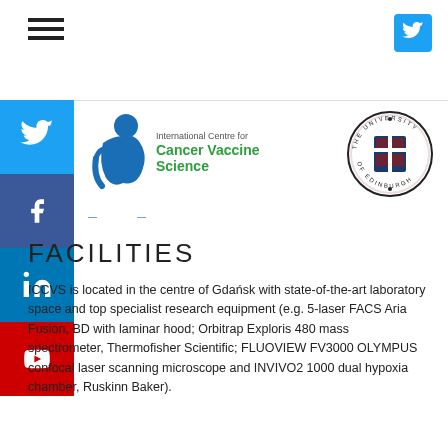[Figure (logo): Hamburger menu icon (three horizontal lines)]
[Figure (logo): Twitter bird icon button (blue square)]
[Figure (logo): Social sidebar with Twitter, Facebook, LinkedIn, YouTube icons]
[Figure (logo): International Centre for Cancer Vaccine Science logo with stylized figure and green text]
[Figure (logo): The University of Edinburgh circular crest/seal]
FACILITIES
ICCVS is located in the centre of Gdańsk with state-of-the-art laboratory space and top specialist research equipment (e.g. 5-laser FACS Aria Fusion, BD with laminar hood; Orbitrap Exploris 480 mass spectrometer, Thermofisher Scientific; FLUOVIEW FV3000 OLYMPUS confocal laser scanning microscope and INVIVO2 1000 dual hypoxia chamber, Ruskinn Baker).